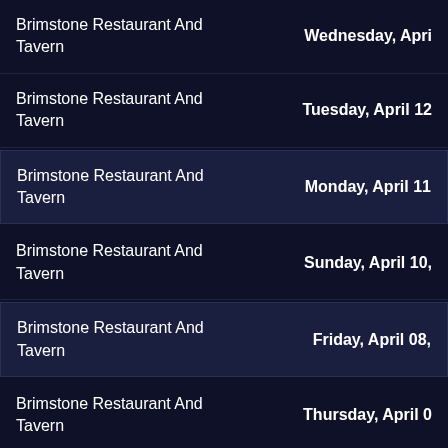Brimstone Restaurant And Tavern | Wednesday, Apri
Brimstone Restaurant And Tavern | Tuesday, April 12
Brimstone Restaurant And Tavern | Monday, April 11
Brimstone Restaurant And Tavern | Sunday, April 10,
Brimstone Restaurant And Tavern | Friday, April 08,
Brimstone Restaurant And Tavern | Thursday, April 0
Brimstone Restaurant And Tavern | Wednesday, Apri